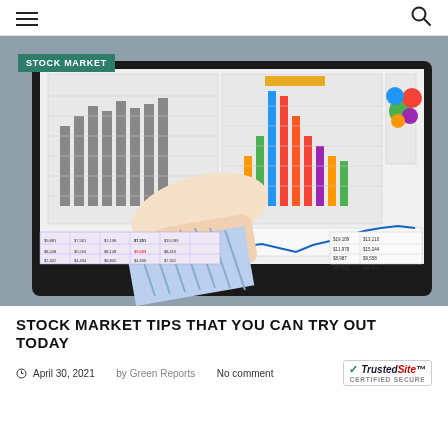Navigation header with hamburger menu and search icon
[Figure (photo): A person pointing at a computer monitor displaying multiple financial charts and graphs including bar charts, a colorful pie chart, a line chart, and spreadsheet data.]
STOCK MARKET TIPS THAT YOU CAN TRY OUT TODAY
April 30, 2021  by Green Reports  No comment